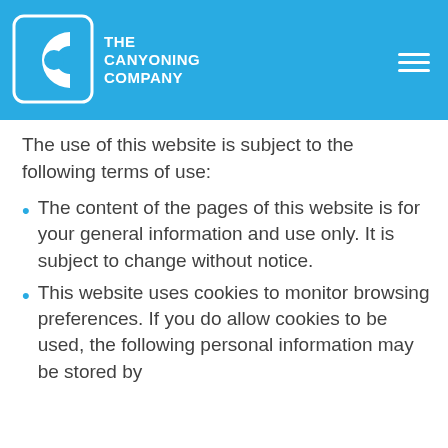THE CANYONING COMPANY
The use of this website is subject to the following terms of use:
The content of the pages of this website is for your general information and use only. It is subject to change without notice.
This website uses cookies to monitor browsing preferences. If you do allow cookies to be used, the following personal information may be stored by